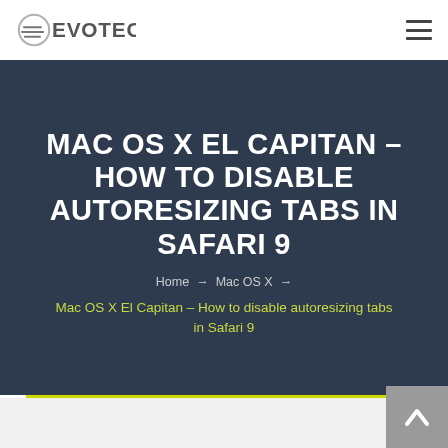Evotec logo and navigation menu
MAC OS X EL CAPITAN – HOW TO DISABLE AUTORESIZING TABS IN SAFARI 9
Home → Mac OS X →
Mac OS X El Capitan – How to disable autoresizing tabs in Safari 9